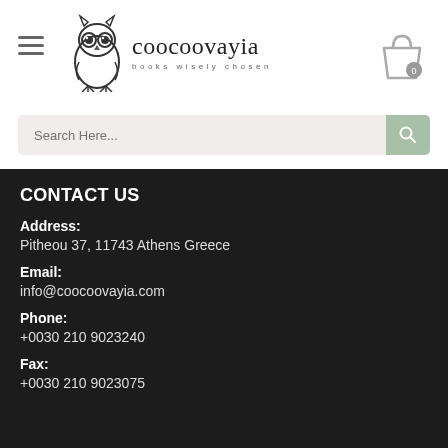[Figure (logo): Coocoovayia bookstore logo with owl icon and tagline 'books wisely chosen']
CONTACT US
Address:
Pitheou 37, 11743 Athens Greece
Email:
info@coocoovayia.com
Phone:
+0030 210 9023240
Fax:
+0030 210 9023075